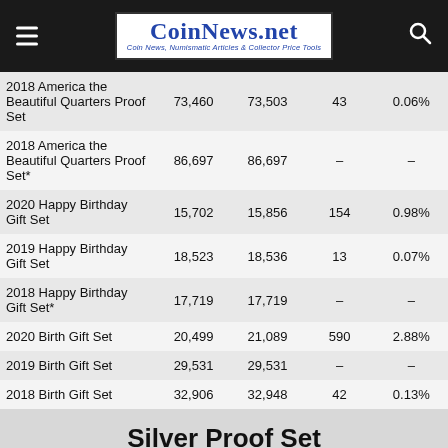CoinNews.net — Coin News, Numismatic Articles & Collector Price Tools
|  | Old Sales | Latest Sales | Gain/Loss | % Increase |
| --- | --- | --- | --- | --- |
| 2018 America the Beautiful Quarters Proof Set | 73,460 | 73,503 | 43 | 0.06% |
| 2018 America the Beautiful Quarters Proof Set* | 86,697 | 86,697 | – | – |
| 2020 Happy Birthday Gift Set | 15,702 | 15,856 | 154 | 0.98% |
| 2019 Happy Birthday Gift Set | 18,523 | 18,536 | 13 | 0.07% |
| 2018 Happy Birthday Gift Set* | 17,719 | 17,719 | – | – |
| 2020 Birth Gift Set | 20,499 | 21,089 | 590 | 2.88% |
| 2019 Birth Gift Set | 29,531 | 29,531 | – | – |
| 2018 Birth Gift Set | 32,906 | 32,948 | 42 | 0.13% |
Silver Proof Set
|  | Old Sales | Latest Sales | Gain/Loss | % Increase |
| --- | --- | --- | --- | --- |
| 2020 Silver Proof Set | 283,433 | 289,020 | 5,587 | 1.97% |